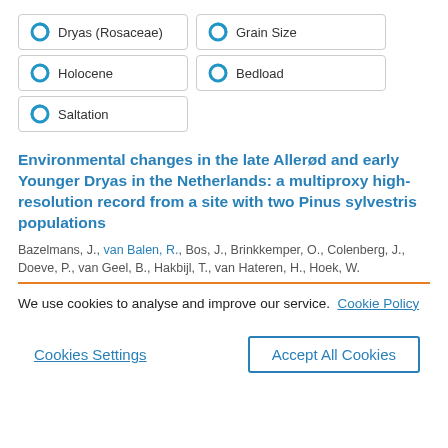Dryas (Rosaceae)
Grain Size
Holocene
Bedload
Saltation
Environmental changes in the late Allerød and early Younger Dryas in the Netherlands: a multiproxy high-resolution record from a site with two Pinus sylvestris populations
Bazelmans, J., van Balen, R., Bos, J., Brinkkemper, O., Colenberg, J., Doeve, P., van Geel, B., Hakbijl, T., van Hateren, H., Hoek, W.
We use cookies to analyse and improve our service. Cookie Policy
Cookies Settings
Accept All Cookies